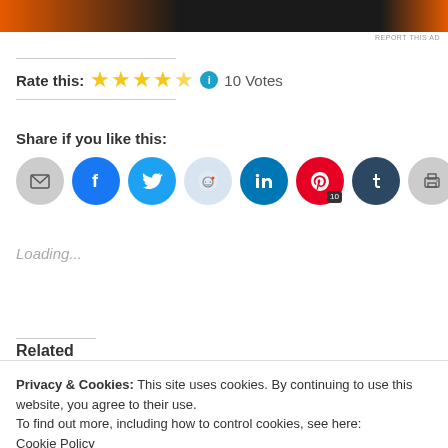[Figure (screenshot): Ad banner at top of page, orange and dark background]
REPORT THIS AD
Rate this: ★★★★½ ℹ 10 Votes
Share if you like this:
[Figure (infographic): Row of social sharing buttons: email, facebook, twitter, reddit, linkedin, pinterest (with badge 10), tumblr, print]
Loading...
Related
Privacy & Cookies: This site uses cookies. By continuing to use this website, you agree to their use.
To find out more, including how to control cookies, see here:
Cookie Policy
Close and accept